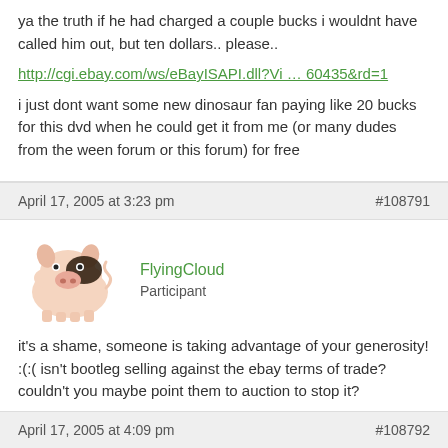ya the truth if he had charged a couple bucks i wouldnt have called him out, but ten dollars.. please..
http://cgi.ebay.com/ws/eBayISAPI.dll?Vi ... 60435&rd=1
i just dont want some new dinosaur fan paying like 20 bucks for this dvd when he could get it from me (or many dudes from the ween forum or this forum) for free
April 17, 2005 at 3:23 pm   #108791
FlyingCloud
Participant
it's a shame, someone is taking advantage of your generosity! :(:( isn't bootleg selling against the ebay terms of trade? couldn't you maybe point them to auction to stop it?
or why not trying to use the "ask seller a question" button ...to ask him to stop the auction
April 17, 2005 at 4:09 pm   #108792